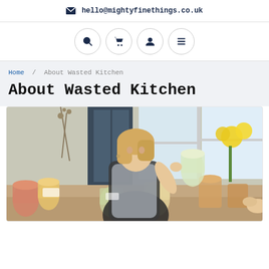✉ hello@mightyfinethings.co.uk
[Figure (other): Navigation icon buttons: search (magnifying glass), cart (shopping trolley), user (person), menu (hamburger lines)]
Home / About Wasted Kitchen
About Wasted Kitchen
[Figure (photo): A woman with blonde hair wearing a dark apron sits at a table covered with many glass jars of preserved foods. She is holding a jar and appears to be explaining something. There are dried flowers on the left and yellow flowers on the right. Bright windows are in the background.]